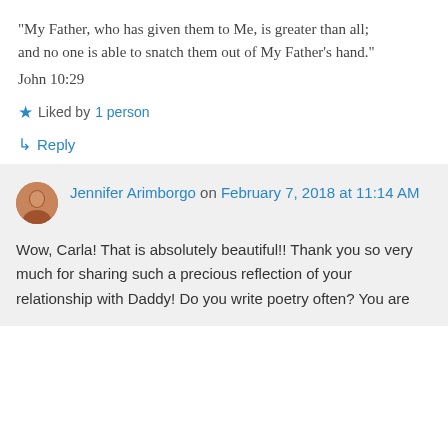“My Father, who has given them to Me, is greater than all; and no one is able to snatch them out of My Father’s hand.” John 10:29
★ Liked by 1 person
↳ Reply
Jennifer Arimborgo on February 7, 2018 at 11:14 AM
Wow, Carla! That is absolutely beautiful!! Thank you so very much for sharing such a precious reflection of your relationship with Daddy! Do you write poetry often? You are